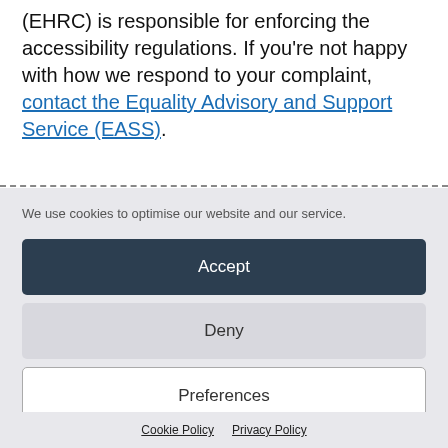(EHRC) is responsible for enforcing the accessibility regulations. If you're not happy with how we respond to your complaint, contact the Equality Advisory and Support Service (EASS).
We use cookies to optimise our website and our service.
Accept
Deny
Preferences
Cookie Policy  Privacy Policy